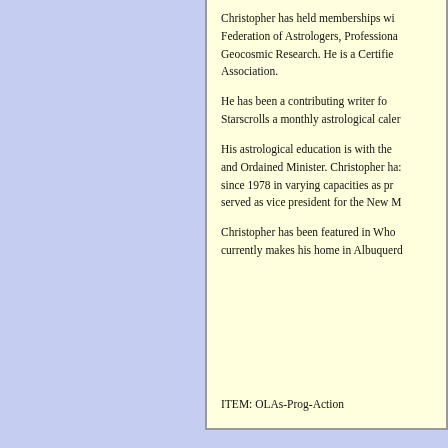Christopher has held memberships with the Federation of Astrologers, Professional Geocosmic Research. He is a Certified Association.
He has been a contributing writer for Starscrolls a monthly astrological calendar.
His astrological education is with the Church and Ordained Minister. Christopher has since 1978 in varying capacities as president, served as vice president for the New M...
Christopher has been featured in Who's Who currently makes his home in Albuquerque...
ITEM: OLAs-Prog-Action